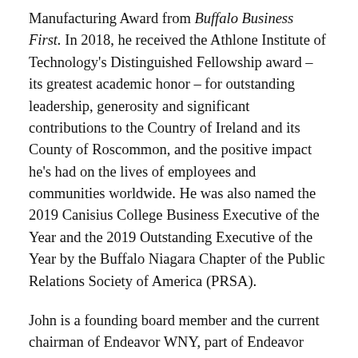Manufacturing Award from Buffalo Business First. In 2018, he received the Athlone Institute of Technology's Distinguished Fellowship award – its greatest academic honor – for outstanding leadership, generosity and significant contributions to the Country of Ireland and its County of Roscommon, and the positive impact he's had on the lives of employees and communities worldwide. He was also named the 2019 Canisius College Business Executive of the Year and the 2019 Outstanding Executive of the Year by the Buffalo Niagara Chapter of the Public Relations Society of America (PRSA).
John is a founding board member and the current chairman of Endeavor WNY, part of Endeavor Global, Inc., an international not-for-profit which supports high-impact entrepreneurs and their companies from nearly 40 offices around the world. He also serves on the boards of the Community Foundation for Greater Buffalo, Buffalo Renaissance Foundation and Viridi Parente. He holds a bachelor's degree from Williams College and an MBA